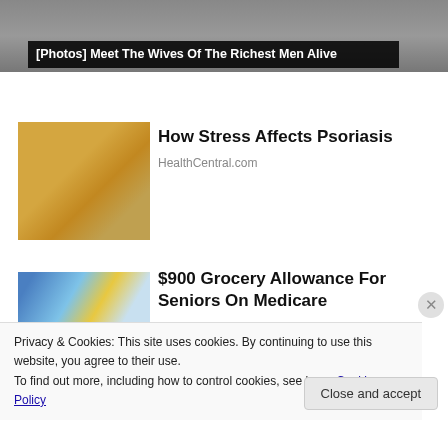[Figure (photo): Top portion of a photo showing people sitting, partially visible. An overlay text reads '[Photos] Meet The Wives Of The Richest Men Alive']
[Photos] Meet The Wives Of The Richest Men Alive
[Figure (photo): Woman in yellow sweater looking at her arm, related to psoriasis article]
How Stress Affects Psoriasis
HealthCentral.com
[Figure (photo): Grocery store interior with people shopping]
$900 Grocery Allowance For Seniors On Medicare
Privacy & Cookies: This site uses cookies. By continuing to use this website, you agree to their use.
To find out more, including how to control cookies, see here: Cookie Policy